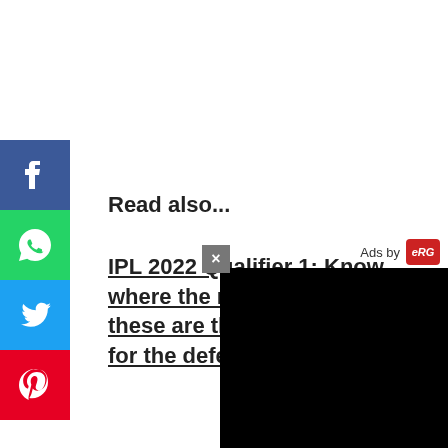Read also...
IPL 2022 Qualifier 1: Know where the mistake happened, these are the three big reasons for the defeat of Rajasthan Ro...